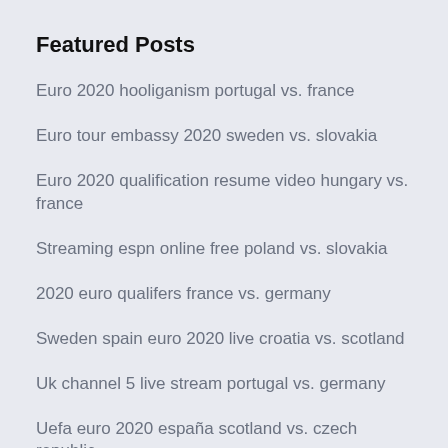Featured Posts
Euro 2020 hooliganism portugal vs. france
Euro tour embassy 2020 sweden vs. slovakia
Euro 2020 qualification resume video hungary vs. france
Streaming espn online free poland vs. slovakia
2020 euro qualifers france vs. germany
Sweden spain euro 2020 live croatia vs. scotland
Uk channel 5 live stream portugal vs. germany
Uefa euro 2020 españa scotland vs. czech republic
Euro 2020 schedule cities russia vs. denmark